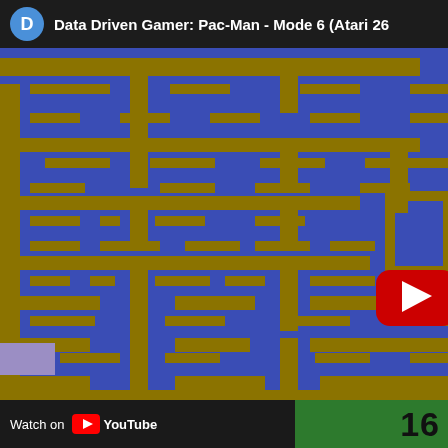D  Data Driven Gamer: Pac-Man - Mode 6 (Atari 26...
[Figure (screenshot): Atari 2600 Pac-Man game maze screenshot with blue background and dark gold/olive walls and corridors forming the maze pattern. A YouTube play button overlay is visible in the lower right area of the game screen.]
Watch on  YouTube  16